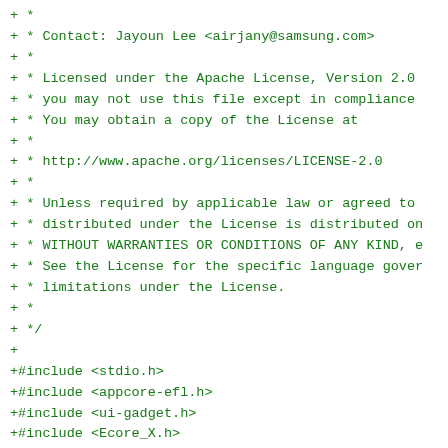+ *
+ * Contact: Jayoun Lee <airjany@samsung.com>
+ *
+ * Licensed under the Apache License, Version 2.0
+ * you may not use this file except in compliance
+ * You may obtain a copy of the License at
+ *
+ * http://www.apache.org/licenses/LICENSE-2.0
+ *
+ * Unless required by applicable law or agreed to
+ * distributed under the License is distributed on
+ * WITHOUT WARRANTIES OR CONDITIONS OF ANY KIND, e
+ * See the License for the specific language gover
+ * limitations under the License.
+ *
+ */
+
+#include <stdio.h>
+#include <appcore-efl.h>
+#include <ui-gadget.h>
+#include <Ecore_X.h>
+#include <dlog.h>
+#include <aul.h>
+#include <appsvc.h>
+#include <app.h>
+#include <runtime_info.h>
+
+#include "ug-client.h"
+
+#ifdef LOG_TAG